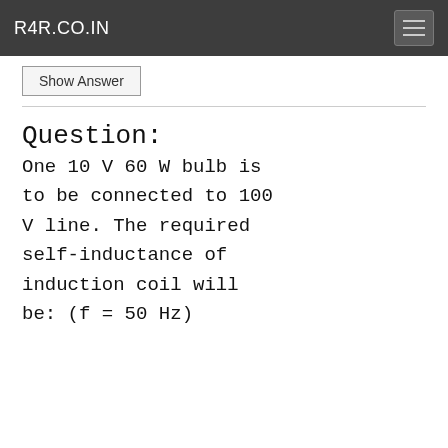R4R.CO.IN
Show Answer
Question:
One 10 V 60 W bulb is to be connected to 100 V line. The required self-inductance of induction coil will be: (f = 50 Hz)